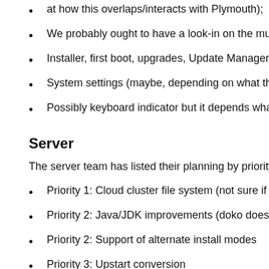at how this overlaps/interacts with Plymouth);
We probably ought to have a look-in on the multi-screen
Installer, first boot, upgrades, Update Manager, and Soft
System settings (maybe, depending on what this comes
Possibly keyboard indicator but it depends what they're d
Server
The server team has listed their planning by priority; their bull
Priority 1: Cloud cluster file system (not sure if we'll be n
Priority 2: Java/JDK improvements (doko does a lot of tha
Priority 2: Support of alternate install modes
Priority 3: Upstart conversion
Kernel
Improved battery power support work; Foundations may
synaptec multi-touch (multi-finger... not multi-touch)
new multi-touch driver enhancements that may need wo